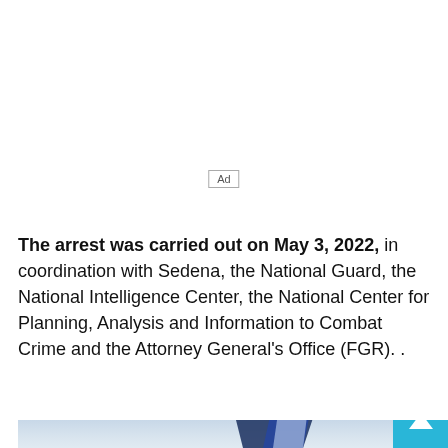[Figure (other): Advertisement placeholder box with 'Ad' label]
The arrest was carried out on May 3, 2022, in coordination with Sedena, the National Guard, the National Intelligence Center, the National Center for Planning, Analysis and Information to Combat Crime and the Attorney General's Office (FGR). .
[Figure (photo): Photograph showing a nautical or aircraft fin/tail with blue and white coloring against a cloudy sky background]